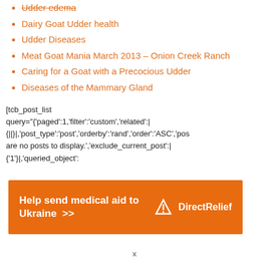Udder edema
Dairy Goat Udder health
Udder Diseases
Meat Goat Mania March 2013 – Onion Creek Ranch
Caring for a Goat with a Precocious Udder
Diseases of the Mammary Gland
[tcb_post_list query="{'paged':1,'filter':'custom','related':|{||}|,'post_type':'post','orderby':'rand','order':'ASC','pos are no posts to display.','exclude_current_post':| {'1'}|,'queried_object':
[Figure (infographic): Orange banner ad: 'Help send medical aid to Ukraine >>' with Direct Relief logo on the right]
x